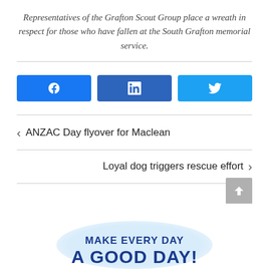Representatives of the Grafton Scout Group place a wreath in respect for those who have fallen at the South Grafton memorial service.
[Figure (infographic): Three social share buttons: Facebook (blue), LinkedIn (dark blue), Twitter (light blue)]
< ANZAC Day flyover for Maclean
Loyal dog triggers rescue effort >
[Figure (infographic): Promotional banner: MAKE EVERY DAY A GOOD DAY! with light blue circular background shape]